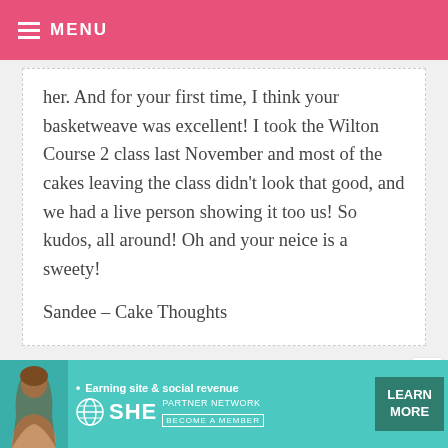MENU
her. And for your first time, I think your basketweave was excellent! I took the Wilton Course 2 class last November and most of the cakes leaving the class didn't look that good, and we had a live person showing it too us! So kudos, all around! Oh and your neice is a sweety!

Sandee – Cake Thoughts
[Figure (screenshot): Bottom advertisement banner for SHE Media Partner Network with teal background, woman photo, tagline 'Earning site & social revenue', SHE logo, and LEARN MORE button]